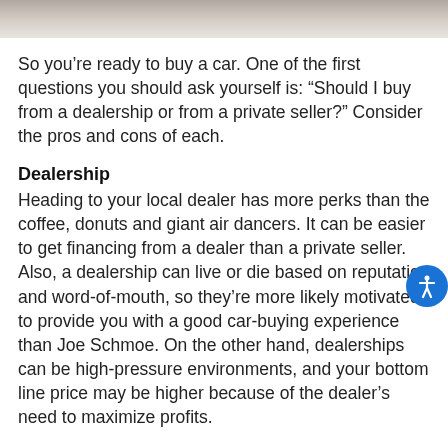[Figure (photo): Top portion of a car image, cropped, showing metallic car surface]
So you’re ready to buy a car. One of the first questions you should ask yourself is: “Should I buy from a dealership or from a private seller?” Consider the pros and cons of each.
Dealership
Heading to your local dealer has more perks than the coffee, donuts and giant air dancers. It can be easier to get financing from a dealer than a private seller. Also, a dealership can live or die based on reputation and word-of-mouth, so they’re more likely motivated to provide you with a good car-buying experience than Joe Schmoe. On the other hand, dealerships can be high-pressure environments, and your bottom line price may be higher because of the dealer’s need to maximize profits.